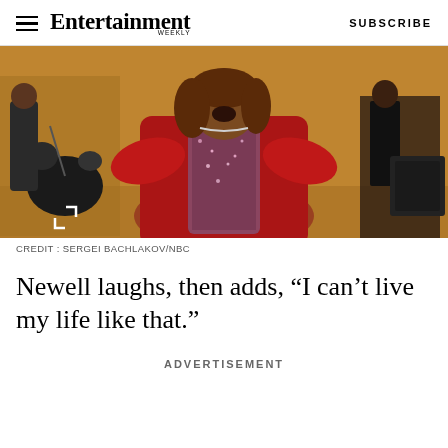Entertainment Weekly | SUBSCRIBE
[Figure (photo): A woman in a red choir robe over a sparkly sequined dress performing or singing joyfully on a stage with musicians in the background]
CREDIT: SERGEI BACHLAKOV/NBC
Newell laughs, then adds, “I can’t live my life like that.”
ADVERTISEMENT